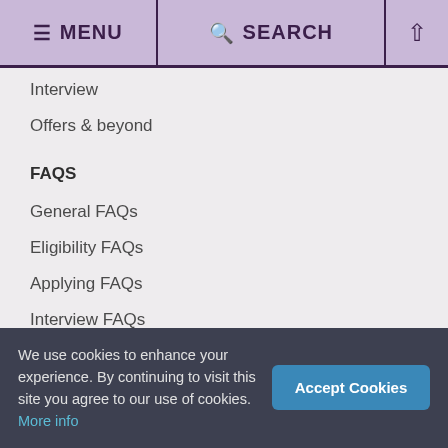≡ MENU  🔍 SEARCH  ↑
Interview
Offers & beyond
FAQS
General FAQs
Eligibility FAQs
Applying FAQs
Interview FAQs
Glossary
Offers FAQs
Round 2 FAQs
We use cookies to enhance your experience. By continuing to visit this site you agree to our use of cookies. More info